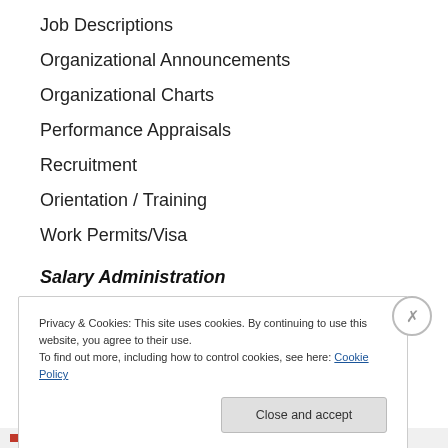Job Descriptions
Organizational Announcements
Organizational Charts
Performance Appraisals
Recruitment
Orientation / Training
Work Permits/Visa
Salary Administration
Compensation
Privacy & Cookies: This site uses cookies. By continuing to use this website, you agree to their use.
To find out more, including how to control cookies, see here: Cookie Policy